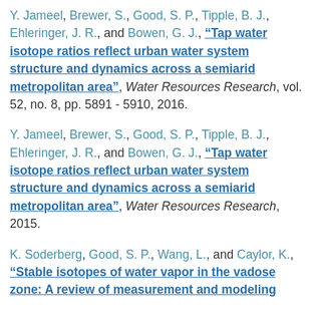Y. Jameel, Brewer, S., Good, S. P., Tipple, B. J., Ehleringer, J. R., and Bowen, G. J., "Tap water isotope ratios reflect urban water system structure and dynamics across a semiarid metropolitan area", Water Resources Research, vol. 52, no. 8, pp. 5891 - 5910, 2016.
Y. Jameel, Brewer, S., Good, S. P., Tipple, B. J., Ehleringer, J. R., and Bowen, G. J., "Tap water isotope ratios reflect urban water system structure and dynamics across a semiarid metropolitan area", Water Resources Research, 2015.
K. Soderberg, Good, S. P., Wang, L., and Caylor, K., "Stable isotopes of water vapor in the vadose zone: A review of measurement and modeling approaches"